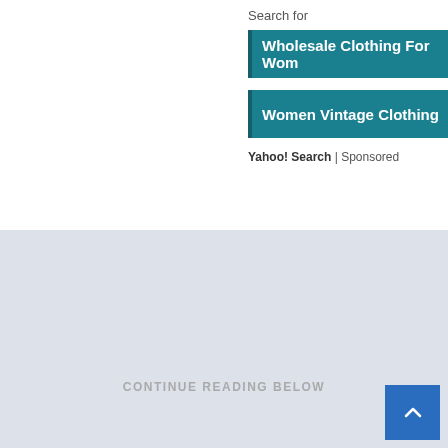Search for
Wholesale Clothing For Women
Women Vintage Clothing
Yahoo! Search | Sponsored
[Figure (screenshot): A browser tab bar with an upward arrow (collapse) button on the left tab]
[Figure (screenshot): Large light blue-grey blank content area placeholder with CONTINUE READING BELOW text and a blue scroll-to-top button in the bottom right corner]
CONTINUE READING BELOW